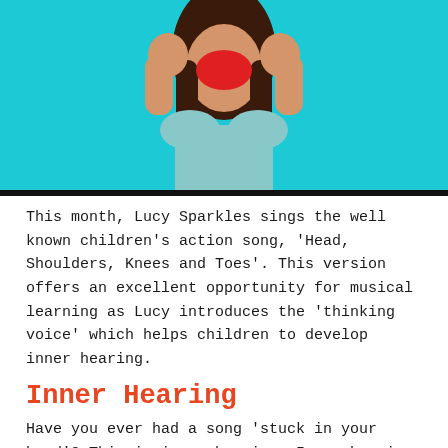[Figure (photo): A woman with long dark hair on a cyan/turquoise background, holding her fists up near her face and appearing to be singing or celebrating enthusiastically. She is wearing a light blue top.]
This month, Lucy Sparkles sings the well known children's action song, 'Head, Shoulders, Knees and Toes'.  This version offers an excellent opportunity for musical learning as Lucy introduces the 'thinking voice' which helps children to develop inner hearing.
Inner Hearing
Have you ever had a song 'stuck in your head'? This is inner hearing.  Inner hearing is the ability to hear music inside your head without any acoustic input. At Lucy Sparkles & Friends we call it our 'thinking voice'.  If we